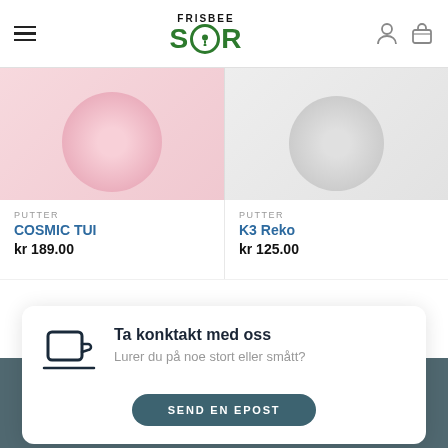[Figure (screenshot): Frisbee Sør logo — FRISBEE text above SØR in green with pushpin O]
[Figure (photo): Pink disc golf putter product image]
PUTTER
COSMIC TUI
kr 189.00
[Figure (photo): Grey disc golf putter product image]
PUTTER
K3 Reko
kr 125.00
Ta konktakt med oss
Lurer du på noe stort eller smått?
SEND EN EPOST